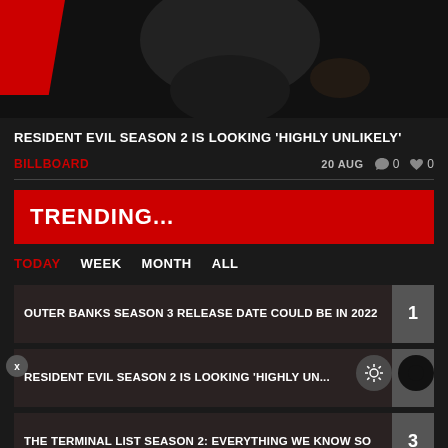[Figure (photo): Dark photo showing a person's lower face and hand against a dark background, with a red geometric shape on the left side]
RESIDENT EVIL SEASON 2 IS LOOKING ‘HIGHLY UNLIKELY’
BILLBOARD   20 AUG   0   0
TRENDING...
TODAY   WEEK   MONTH   ALL
OUTER BANKS SEASON 3 RELEASE DATE COULD BE IN 2022   1
RESIDENT EVIL SEASON 2 IS LOOKING 'HIGHLY UN...   2
THE TERMINAL LIST SEASON 2: EVERYTHING WE KNOW SO   3